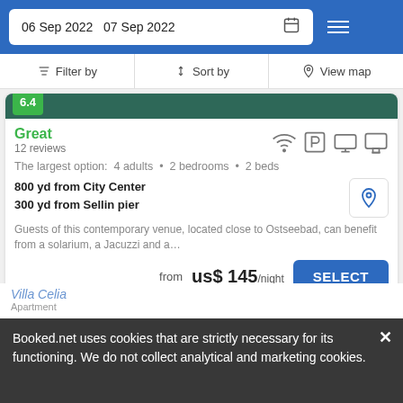06 Sep 2022   07 Sep 2022
Filter by   Sort by   View map
6.4
Great
12 reviews
The largest option:  4 adults  •  2 bedrooms  •  2 beds
800 yd from City Center
300 yd from Sellin pier
Guests of this contemporary venue, located close to Ostseebad, can benefit from a solarium, a Jacuzzi and a...
from  us$ 145/night
SELECT
Villa Celia
Apartment
Booked.net uses cookies that are strictly necessary for its functioning. We do not collect analytical and marketing cookies.